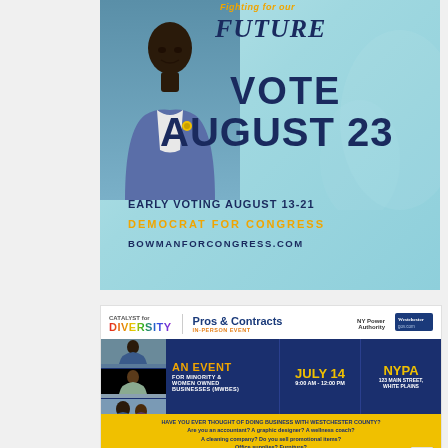[Figure (infographic): Political campaign ad for Bowman for Congress. Text: 'Fighting for our FUTURE — VOTE AUGUST 23 — EARLY VOTING AUGUST 13-21 — DEMOCRAT FOR CONGRESS — BOWMANFORCONGRESS.COM'. Features photo of candidate in blue suit on light blue background.]
[Figure (infographic): Catalyst for Diversity event flyer. 'Pros & Contracts IN-PERSON EVENT' for 'AN EVENT FOR MINORITY & WOMEN OWNED BUSINESSES (MWBES)'. July 14, 9:00 AM - 12:00 PM. NYPA, 123 Main Street, White Plains. NY Power Authority and Westchester.gov sponsors. Yellow band with question about doing business with Westchester County.]